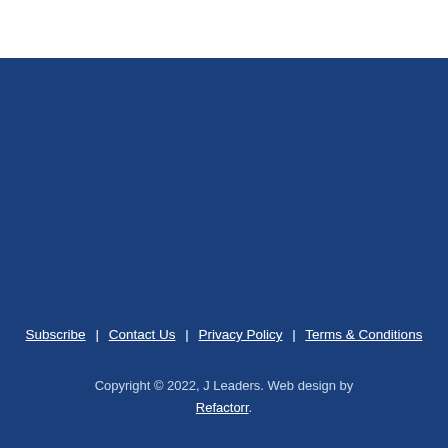Subscribe | Contact Us | Privacy Policy | Terms & Conditions
Copyright © 2022, J Leaders. Web design by Refactorr.